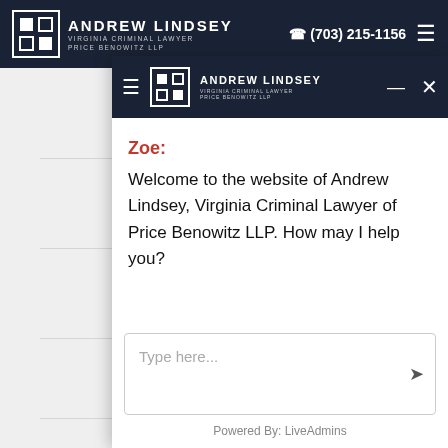Andrew Lindsey Virginia Criminal Lawyer Price Benowitz LLP | (703) 215-1156
Pretrial Release and
[Figure (screenshot): Live chat widget overlay for Andrew Lindsey, Virginia Criminal Lawyer - Price Benowitz LLP website. Shows chat header with logo, agent name 'Zoe:', welcome message, empty message input box, and 'Powered By: LiveAdmins' footer.]
Zoe:
Welcome to the website of Andrew Lindsey, Virginia Criminal Lawyer of Price Benowitz LLP. How may I help you?
Type here...
Powered By: LiveAdmins